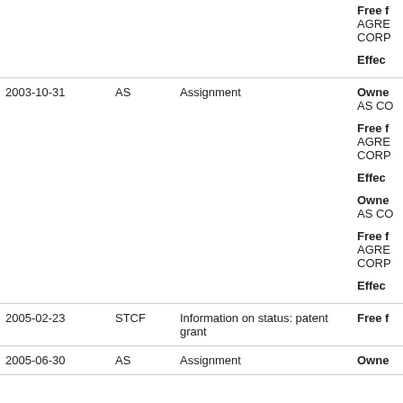| Date | Code | Description | Info |
| --- | --- | --- | --- |
|  |  |  | Free f
AGRE
CORP

Effec |
| 2003-10-31 | AS | Assignment | Owne
AS CO

Free f
AGRE
CORP

Effec

Owne
AS CO

Free f
AGRE
CORP

Effec |
| 2005-02-23 | STCF | Information on status: patent grant | Free f |
| 2005-06-30 | AS | Assignment | Owne |